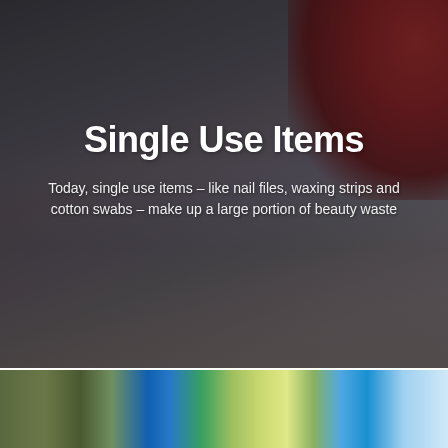[Figure (photo): Background photo of a nail technician with red hair wearing black gloves filing a client's nails, dark moody atmosphere]
Single Use Items
Today, single use items – like nail files, waxing strips and cotton swabs – make up a large portion of beauty waste
[Figure (photo): Close-up photo of various single-use plastic items and beauty waste including blue cap, yellow and green plastic pieces]